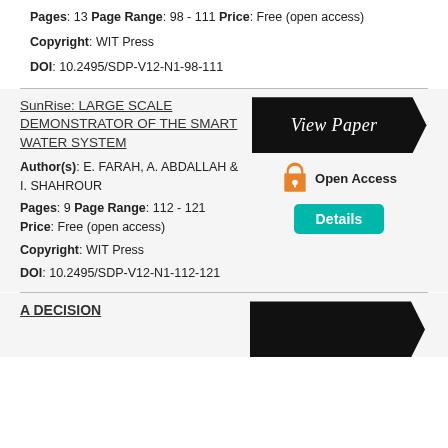Pages: 13 Page Range: 98 - 111 Price: Free (open access)
Copyright: WIT Press
DOI: 10.2495/SDP-V12-N1-98-111
SunRise: LARGE SCALE DEMONSTRATOR OF THE SMART WATER SYSTEM
Author(s): E. FARAH, A. ABDALLAH & I. SHAHROUR
Pages: 9 Page Range: 112 - 121 Price: Free (open access)
Copyright: WIT Press
DOI: 10.2495/SDP-V12-N1-112-121
A DECISION